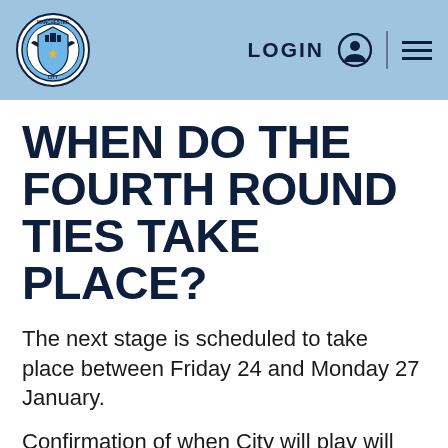Manchester City | LOGIN | menu
WHEN DO THE FOURTH ROUND TIES TAKE PLACE?
The next stage is scheduled to take place between Friday 24 and Monday 27 January.
Confirmation of when City will play will happen after the draw has been made.
WHAT BALL NUMBER ARE CITY?